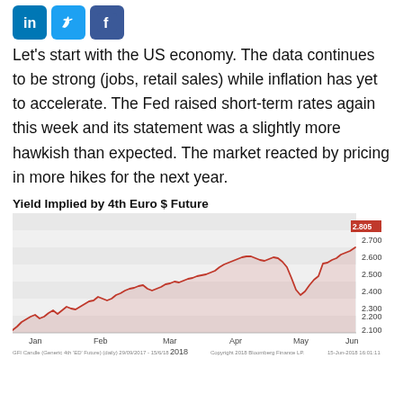[Figure (logo): LinkedIn, Twitter, Facebook social media icons]
Let's start with the US economy. The data continues to be strong (jobs, retail sales) while inflation has yet to accelerate. The Fed raised short-term rates again this week and its statement was a slightly more hawkish than expected. The market reacted by pricing in more hikes for the next year.
Yield Implied by 4th Euro $ Future
[Figure (line-chart): Yield Implied by 4th Euro $ Future]